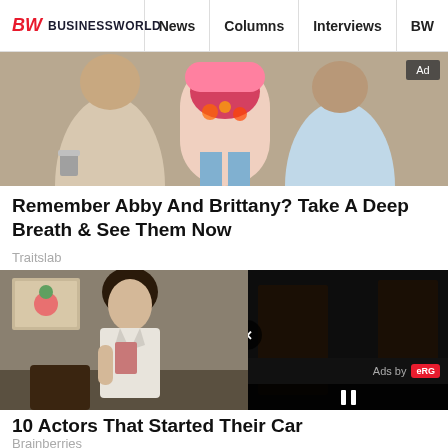BW BUSINESSWORLD | News | Columns | Interviews | BW
[Figure (photo): Advertisement photo showing three people standing together, with an 'Ad' badge in top right corner]
Remember Abby And Brittany? Take A Deep Breath & See Them Now
Traitslab
[Figure (screenshot): Screenshot of a webpage showing an actor in a scene, with a video overlay in the bottom right showing 'Ads by eRG' and a pause button. The video overlay has a close X button.]
10 Actors That Started Their Car
Brainberries